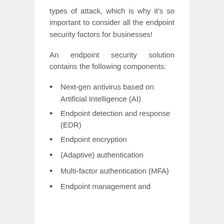types of attack, which is why it's so important to consider all the endpoint security factors for businesses!
An endpoint security solution contains the following components:
Next-gen antivirus based on Artificial Intelligence (AI)
Endpoint detection and response (EDR)
Endpoint encryption
(Adaptive) authentication
Multi-factor authentication (MFA)
Endpoint management and